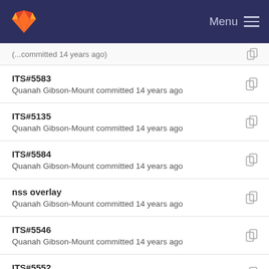GitLab — Menu
ITS#5583
Quanah Gibson-Mount committed 14 years ago
ITS#5135
Quanah Gibson-Mount committed 14 years ago
ITS#5584
Quanah Gibson-Mount committed 14 years ago
nss overlay
Quanah Gibson-Mount committed 14 years ago
ITS#5546
Quanah Gibson-Mount committed 14 years ago
ITS#5552
Quanah Gibson-Mount committed 14 years ago
ITS#5569
Quanah Gibson-Mount committed 14 years ago
ITS#5548